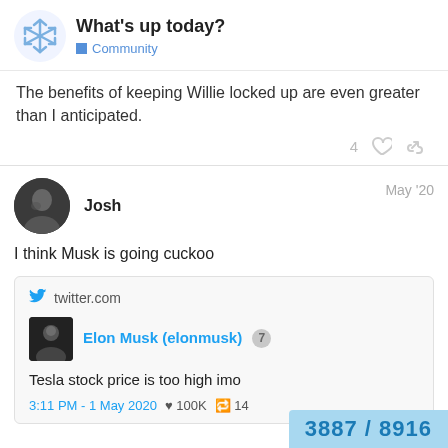What's up today? Community
The benefits of keeping Willie locked up are even greater than I anticipated.
4 ♡ 🔗
Josh  May '20
I think Musk is going cuckoo
[Figure (screenshot): Embedded tweet from Elon Musk (elonmusk) on twitter.com: 'Tesla stock price is too high imo' posted at 3:11 PM - 1 May 2020 with 100K likes and 14K retweets]
3887 / 8916